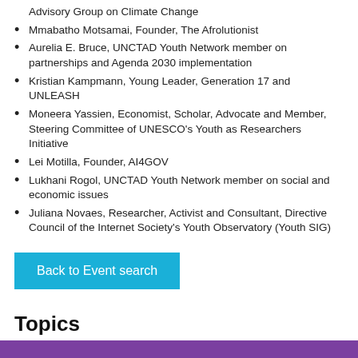Advisory Group on Climate Change
Mmabatho Motsamai, Founder, The Afrolutionist
Aurelia E. Bruce, UNCTAD Youth Network member on partnerships and Agenda 2030 implementation
Kristian Kampmann, Young Leader, Generation 17 and UNLEASH
Moneera Yassien, Economist, Scholar, Advocate and Member, Steering Committee of UNESCO's Youth as Researchers Initiative
Lei Motilla, Founder, AI4GOV
Lukhani Rogol, UNCTAD Youth Network member on social and economic issues
Juliana Novaes, Researcher, Activist and Consultant, Directive Council of the Internet Society's Youth Observatory (Youth SIG)
[Figure (other): Back to Event search button (cyan/teal colored button)]
Topics
[Figure (other): Purple decorative bar at bottom of page]